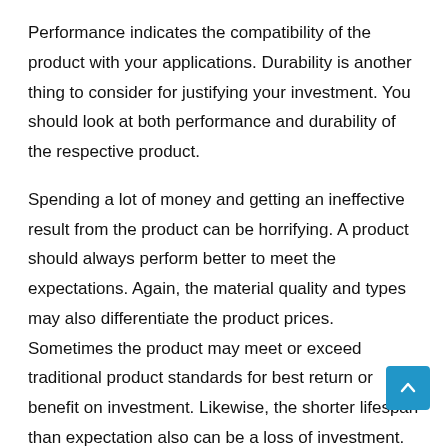Performance indicates the compatibility of the product with your applications. Durability is another thing to consider for justifying your investment. You should look at both performance and durability of the respective product.
Spending a lot of money and getting an ineffective result from the product can be horrifying. A product should always perform better to meet the expectations. Again, the material quality and types may also differentiate the product prices. Sometimes the product may meet or exceed traditional product standards for best return or benefit on investment. Likewise, the shorter lifespan than expectation also can be a loss of investment.
Irrespective of user reviews, you can find many ways to know your desired grinding wheel for stainless steel's performance and durability. You should try to see the source of materials used in producing the product. Indeed, the best product is constructed from premium, long-lasting, and industry-leading materials.